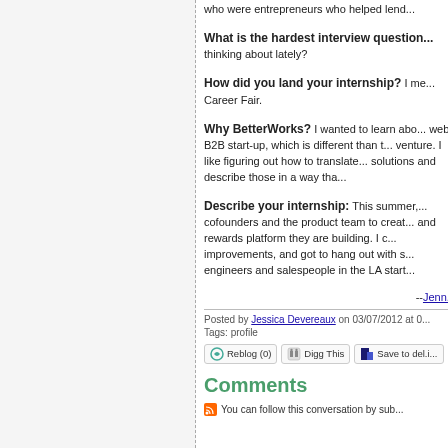who were entrepreneurs who helped lend...
What is the hardest interview question... thinking about lately?
How did you land your internship? I me... Career Fair.
Why BetterWorks? I wanted to learn abo... web B2B start-up, which is different than t... venture. I like figuring out how to translate... solutions and describe those in a way tha...
Describe your internship: This summer,... cofounders and the product team to creat... and rewards platform they are building. I c... improvements, and got to hang out with s... engineers and salespeople in the LA start...
--Jenn...
Posted by Jessica Devereaux on 03/07/2012 at 0...
Tags: profile
Reblog (0)  Digg This  Save to del.i...
Comments
You can follow this conversation by sub...